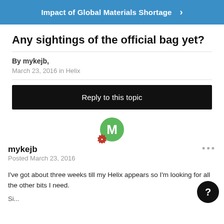Impact of Global Materials Shortage
Any sightings of the official bag yet?
By mykejb,
March 23, 2016 in Helix
Reply to this topic
mykejb
Posted March 23, 2016
I've got about three weeks till my Helix appears so I'm looking for all the other bits I need.